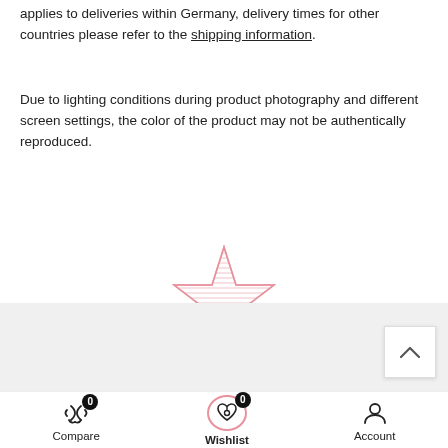applies to deliveries within Germany, delivery times for other countries please refer to the shipping information.
Due to lighting conditions during product photography and different screen settings, the color of the product may not be authentically reproduced.
[Figure (logo): Kokadi brand logo: a pink star/arrow shape above the word 'kokadi' in pink italic lettering]
Verfügbarkeitsbenachrichtigung
Compare 0 | Wishlist 0 | Account